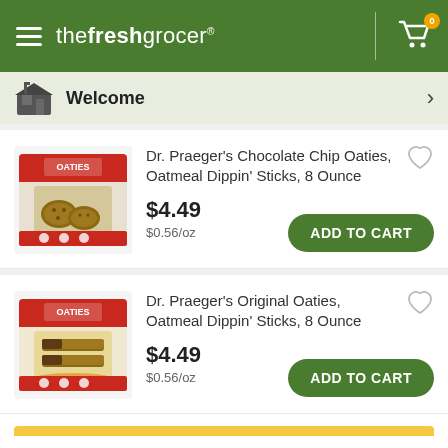the fresh grocer
Welcome
Dr. Praeger's Chocolate Chip Oaties, Oatmeal Dippin' Sticks, 8 Ounce
$4.49
$0.56/oz
ADD TO CART
Dr. Praeger's Original Oaties, Oatmeal Dippin' Sticks, 8 Ounce
$4.49
$0.56/oz
ADD TO CART